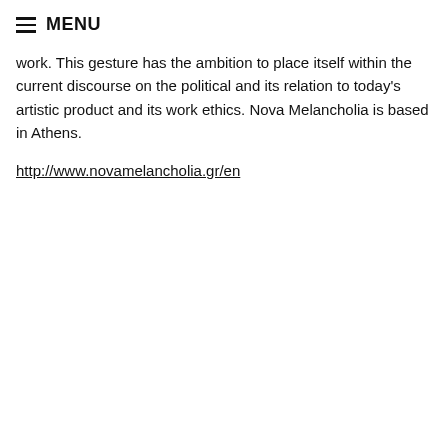≡ MENU
work. This gesture has the ambition to place itself within the current discourse on the political and its relation to today's artistic product and its work ethics. Nova Melancholia is based in Athens.
http://www.novamelancholia.gr/en